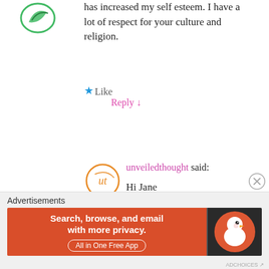has increased my self esteem. I have a lot of respect for your culture and religion.
Like
Reply ↓
unveiledthought said: Hi Jane
Thanks for your message. I'm really glad to hear that you've found that sort of comfort!
Like
Reply ↓
Advertisements
[Figure (illustration): Green leaf/plant avatar icon at top left]
[Figure (illustration): Orange circular 'ut' handwritten logo avatar for unveiledthought]
[Figure (illustration): DuckDuckGo advertisement banner: orange section with 'Search, browse, and email with more privacy. All in One Free App' and dark section with DuckDuckGo duck logo]
[Figure (illustration): Close/dismiss X button circle icon]